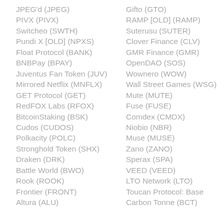JPEG'd (JPEG)
PIVX (PIVX)
Switcheo (SWTH)
Pundi X [OLD] (NPXS)
Float Protocol (BANK)
BNBPay (BPAY)
Juventus Fan Token (JUV)
Mirrored Netflix (MNFLX)
GET Protocol (GET)
RedFOX Labs (RFOX)
BitcoinStaking (BSK)
Cudos (CUDOS)
Polkacity (POLC)
Stronghold Token (SHX)
Draken (DRK)
Battle World (BWO)
Rook (ROOK)
Frontier (FRONT)
Altura (ALU)
Gifto (GTO)
RAMP [OLD] (RAMP)
Suterusu (SUTER)
Clover Finance (CLV)
GMR Finance (GMR)
OpenDAO (SOS)
Wownero (WOW)
Wall Street Games (WSG)
Mute (MUTE)
Fuse (FUSE)
Comdex (CMDX)
Niobio (NBR)
Muse (MUSE)
Zano (ZANO)
Sperax (SPA)
VEED (VEED)
LTO Network (LTO)
Toucan Protocol: Base
Carbon Tonne (BCT)